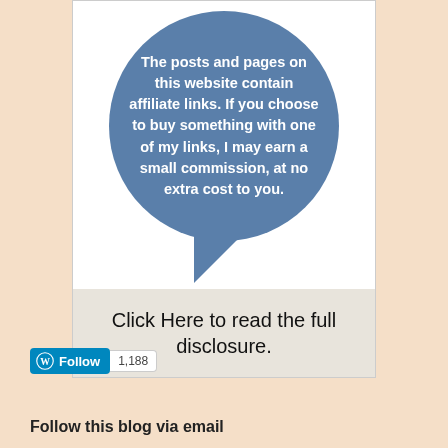[Figure (illustration): A blue speech bubble (elliptical shape with a tail pointing down-left) containing white bold text about affiliate links disclosure, above a grey-background box with a call-to-action link.]
The posts and pages on this website contain affiliate links. If you choose to buy something with one of my links, I may earn a small commission, at no extra cost to you.
Click Here to read the full disclosure.
[Figure (other): WordPress Follow button (blue, with WP logo) and a follower count badge showing 1,188.]
Follow this blog via email